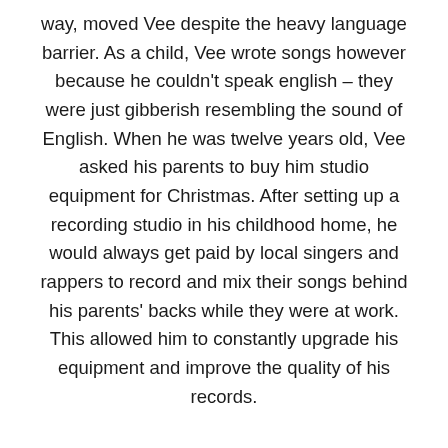way, moved Vee despite the heavy language barrier. As a child, Vee wrote songs however because he couldn't speak english – they were just gibberish resembling the sound of English. When he was twelve years old, Vee asked his parents to buy him studio equipment for Christmas. After setting up a recording studio in his childhood home, he would always get paid by local singers and rappers to record and mix their songs behind his parents' backs while they were at work. This allowed him to constantly upgrade his equipment and improve the quality of his records.
As a teenager, Vee focused his efforts on discovering his sound and figuring out where his place in music was. Driven by his dreams of moving to Los Angeles and pursuing his music career, Vee mastered the English language in only